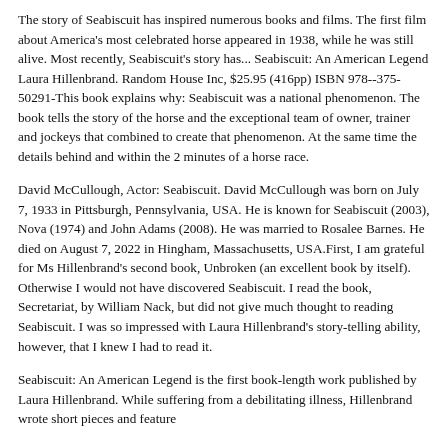The story of Seabiscuit has inspired numerous books and films. The first film about America's most celebrated horse appeared in 1938, while he was still alive. Most recently, Seabiscuit's story has... Seabiscuit: An American Legend Laura Hillenbrand. Random House Inc, $25.95 (416pp) ISBN 978--375-50291-This book explains why: Seabiscuit was a national phenomenon. The book tells the story of the horse and the exceptional team of owner, trainer and jockeys that combined to create that phenomenon. At the same time the details behind and within the 2 minutes of a horse race.
David McCullough, Actor: Seabiscuit. David McCullough was born on July 7, 1933 in Pittsburgh, Pennsylvania, USA. He is known for Seabiscuit (2003), Nova (1974) and John Adams (2008). He was married to Rosalee Barnes. He died on August 7, 2022 in Hingham, Massachusetts, USA.First, I am grateful for Ms Hillenbrand's second book, Unbroken (an excellent book by itself). Otherwise I would not have discovered Seabiscuit. I read the book, Secretariat, by William Nack, but did not give much thought to reading Seabiscuit. I was so impressed with Laura Hillenbrand's story-telling ability, however, that I knew I had to read it.
Seabiscuit: An American Legend is the first book-length work published by Laura Hillenbrand. While suffering from a debilitating illness, Hillenbrand wrote short pieces and feature